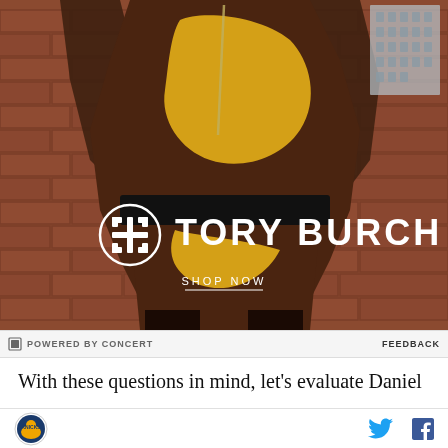[Figure (photo): Tory Burch advertisement featuring a model in a brown and yellow color-block dress against a brick wall background, with the Tory Burch logo and 'SHOP NOW' call-to-action]
⊂ POWERED BY CONCERT    FEEDBACK
With these questions in mind, let's evaluate Daniel
[Figure (logo): Sports team logo circular badge]
[Figure (logo): Twitter bird icon in blue]
[Figure (logo): Facebook f icon in blue]